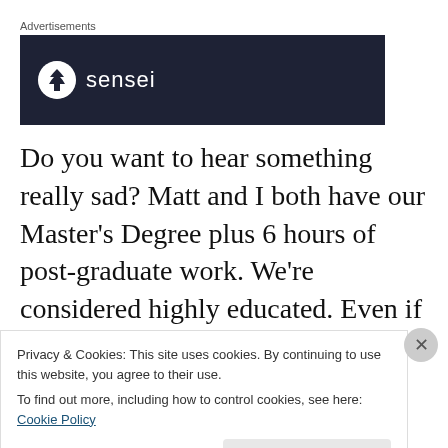Advertisements
[Figure (logo): Sensei brand advertisement banner — dark navy background with a circular tree logo and the text 'sensei' in white.]
Do you want to hear something really sad? Matt and I both have our Master's Degree plus 6 hours of post-graduate work. We're considered highly educated. Even if we both keep our same jobs for next year, and all of these Senate Bill 5 cuts go through, our kids will qualify for free and
Privacy & Cookies: This site uses cookies. By continuing to use this website, you agree to their use.
To find out more, including how to control cookies, see here: Cookie Policy
Close and accept